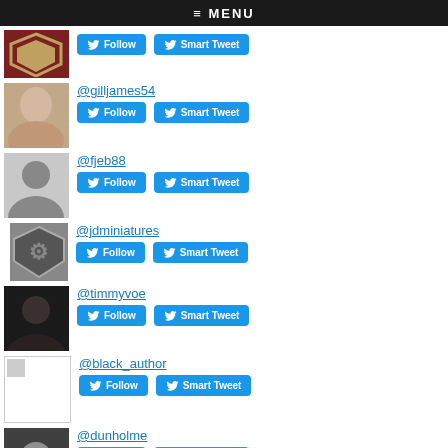≡ MENU
@gilljames54 - Follow, Smart Tweet
@fjeb88 - Follow, Smart Tweet
@jdminiatures - Follow, Smart Tweet
@timmyvoe - Follow, Smart Tweet
@black_author - Follow, Smart Tweet
@dunholme - Follow, Smart Tweet
Top Tweeters in G3:
@mistersalesman